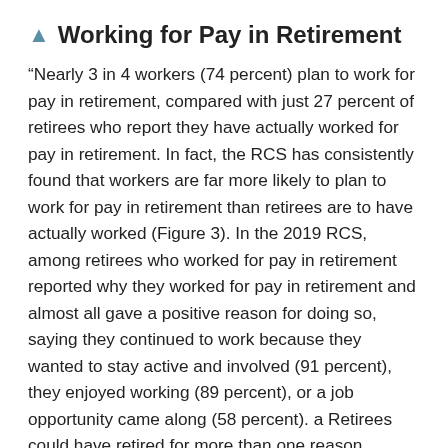▲ Working for Pay in Retirement
“Nearly 3 in 4 workers (74 percent) plan to work for pay in retirement, compared with just 27 percent of retirees who report they have actually worked for pay in retirement. In fact, the RCS has consistently found that workers are far more likely to plan to work for pay in retirement than retirees are to have actually worked (Figure 3). In the 2019 RCS, among retirees who worked for pay in retirement reported why they worked for pay in retirement and almost all gave a positive reason for doing so, saying they continued to work because they wanted to stay active and involved (91 percent), they enjoyed working (89 percent), or a job opportunity came along (58 percent). a Retirees could have retired for more than one reason. However, they reported that financial reasons also played a role in that decision, such as wanting money to buy extras (75 percent), needing